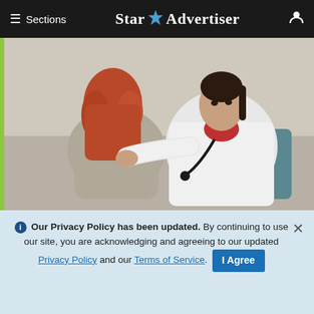≡ Sections  Star ✦ Advertiser
[Figure (photo): A female doctor in a white coat examining a female patient's back/kidney area. The patient has red hair and is sitting with her back to the camera. The doctor is looking at the camera.]
Kidney Failure Signs That Most People Might Not Know About
Kidney Treatment | Sponsored
ℹ Our Privacy Policy has been updated. By continuing to use our site, you are acknowledging and agreeing to our updated Privacy Policy and our Terms of Service. I Agree